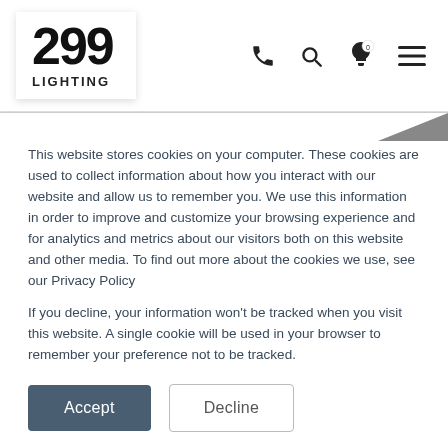[Figure (logo): 299 LIGHTING logo with large bold 299 and LIGHTING text below]
[Figure (screenshot): Navigation icons: phone, search, lightbulb with 0 badge, hamburger menu]
[Figure (other): Diagonal decorative dark grey shape in upper right area below header]
This website stores cookies on your computer. These cookies are used to collect information about how you interact with our website and allow us to remember you. We use this information in order to improve and customize your browsing experience and for analytics and metrics about our visitors both on this website and other media. To find out more about the cookies we use, see our Privacy Policy
If you decline, your information won't be tracked when you visit this website. A single cookie will be used in your browser to remember your preference not to be tracked.
Accept
Decline